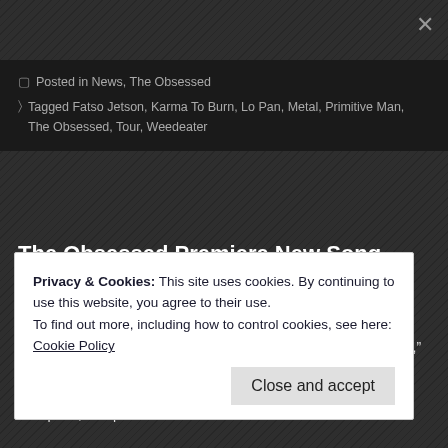Posted in News, The Obsessed
Tagged Fatso Jetson, Karma To Burn, Lo Pan, Metal, Primitive Man, The Obsessed, Tour, Weedeater
The Obsessed Premiere New Song “Punk Crusher”, Part Sara Seraphim
Posted by caemanamelio on March 2, 2017
The Obsessed have premiered a new song titled “Punk Crusher,” via Brookly from the band’s new album “Sacred,” which will be released on April 7. In oth also parted ways with guitarist Sara Seraphim, and plan to continue as a thre
Privacy & Cookies: This site uses cookies. By continuing to use this website, you agree to their use.
To find out more, including how to control cookies, see here: Cookie Policy
Close and accept